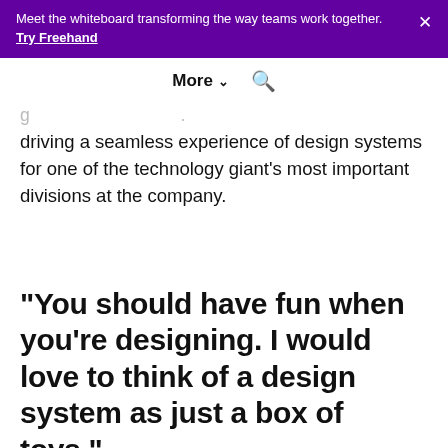Meet the whiteboard transforming the way teams work together. Try Freehand
More ⌄ 🔍
driving a seamless experience of design systems for one of the technology giant’s most important divisions at the company.
“You should have fun when you’re designing. I would love to think of a design system as just a box of toys.”